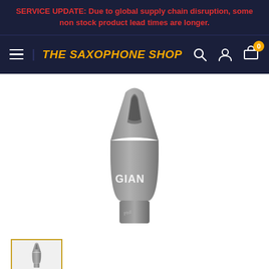SERVICE UPDATE: Due to global supply chain disruption, some non stock product lead times are longer.
THE SAXOPHONE SHOP
[Figure (photo): A gray saxophone mouthpiece labeled 'GIAN' (Giants) standing upright, shown in profile view against a white background.]
[Figure (photo): Small thumbnail of the same saxophone mouthpiece shown in the product image above.]